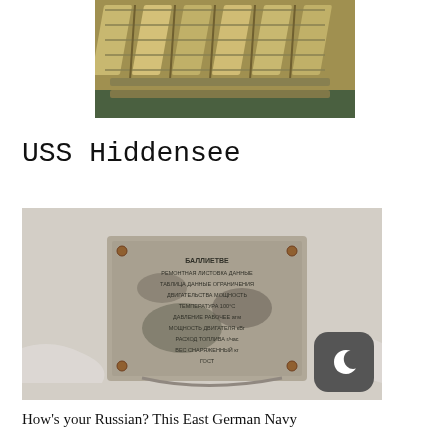[Figure (photo): Close-up photo of metallic/gold-colored industrial trays or molds arranged in rows on a green surface, viewed from above at an angle.]
USS Hiddensee
[Figure (photo): Photo of a weathered metal placard or data plate with Russian text, mounted or resting on a light-colored surface, partially corroded and worn.]
How's your Russian? This East German Navy